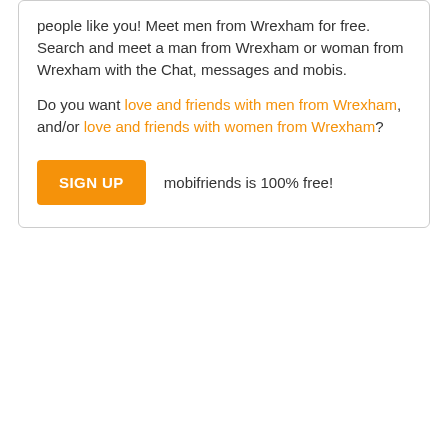people like you! Meet men from Wrexham for free. Search and meet a man from Wrexham or woman from Wrexham with the Chat, messages and mobis.
Do you want love and friends with men from Wrexham, and/or love and friends with women from Wrexham?
SIGN UP   mobifriends is 100% free!